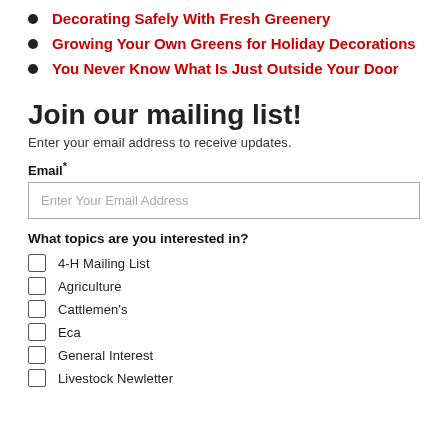Decorating Safely With Fresh Greenery
Growing Your Own Greens for Holiday Decorations
You Never Know What Is Just Outside Your Door
Join our mailing list!
Enter your email address to receive updates.
Email*
Enter Your Email Address
What topics are you interested in?
4-H Mailing List
Agriculture
Cattlemen's
Eca
General Interest
Livestock Newletter